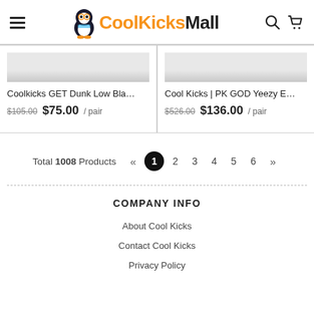CoolKicksMall
Coolkicks GET Dunk Low Bla  $105.00  $75.00 / pair
Cool Kicks | PK GOD Yeezy E  $526.00  $136.00 / pair
Total 1008 Products « 1 2 3 4 5 6 »
COMPANY INFO
About Cool Kicks
Contact Cool Kicks
Privacy Policy